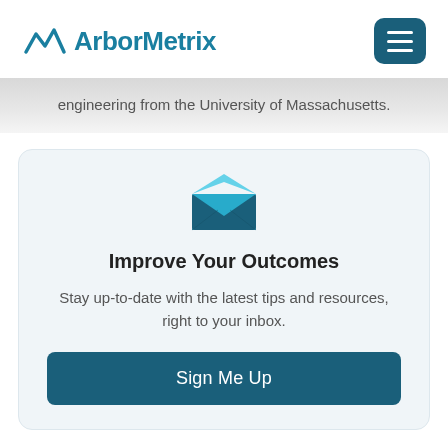ArborMetrix
engineering from the University of Massachusetts.
Improve Your Outcomes
Stay up-to-date with the latest tips and resources, right to your inbox.
Sign Me Up